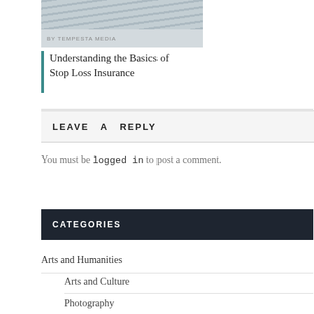[Figure (photo): Partial image of a document or newspaper, shown cropped at top]
BY TEMPESTA MEDIA
Understanding the Basics of Stop Loss Insurance
LEAVE A REPLY
You must be logged in to post a comment.
CATEGORIES
Arts and Humanities
Arts and Culture
Photography